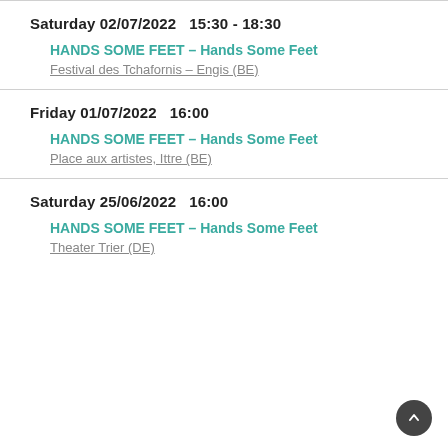Saturday 02/07/2022   15:30 - 18:30
HANDS SOME FEET – Hands Some Feet
Festival des Tchafornis – Engis (BE)
Friday 01/07/2022   16:00
HANDS SOME FEET – Hands Some Feet
Place aux artistes, Ittre (BE)
Saturday 25/06/2022   16:00
HANDS SOME FEET – Hands Some Feet
Theater Trier (DE)